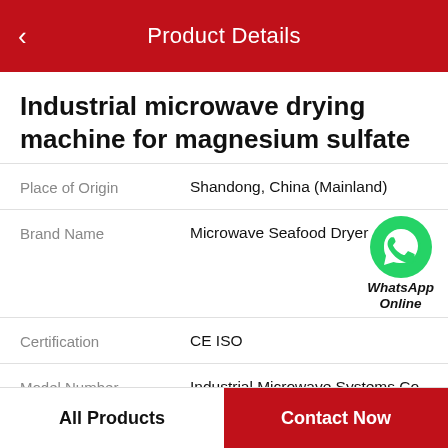Product Details
Industrial microwave drying machine for magnesium sulfate
| Field | Value |
| --- | --- |
| Place of Origin | Shandong, China (Mainland) |
| Brand Name | Microwave Seafood Dryer |
| Certification | CE ISO |
| Model Number | Industrial Microwave Systems Co Ltd. |
| Min.Order Quantity | 1 Set/Sets |
[Figure (logo): WhatsApp green phone icon with text 'WhatsApp Online' below]
All Products    Contact Now